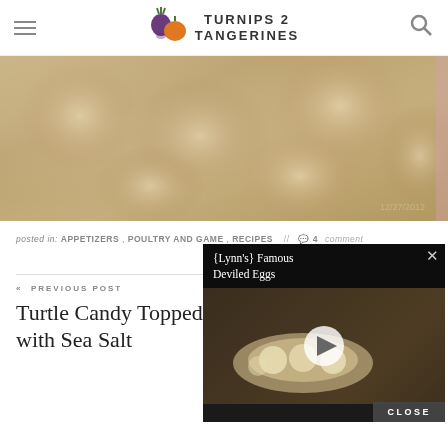Turnips 2 Tangerines
[Figure (photo): Close-up food photo with date stamp 12/27/2012]
posted in: APPETIZERS, POULTRY AND GAME, RECIPES // 4 comments
[Figure (screenshot): Video popup overlay showing {Lynn's} Famous Deviled Eggs with play button and CLOSE button]
« PREVIOUS POST
Turtle Candy Topped with Sea Salt
Old Fashioned Ham Bean Soup with Video